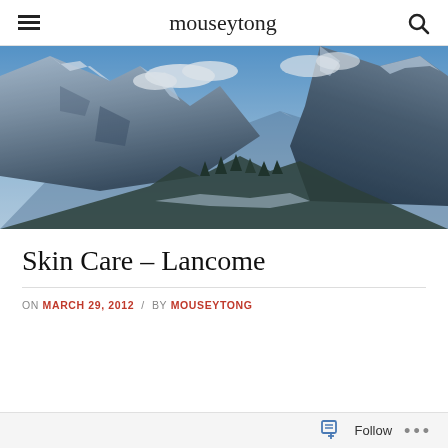mouseytong
[Figure (photo): Panoramic mountain landscape with snow-capped peaks, blue sky with clouds, evergreen trees in the valley below]
Skin Care – Lancome
ON MARCH 29, 2012 / BY MOUSEYTONG
Follow ...